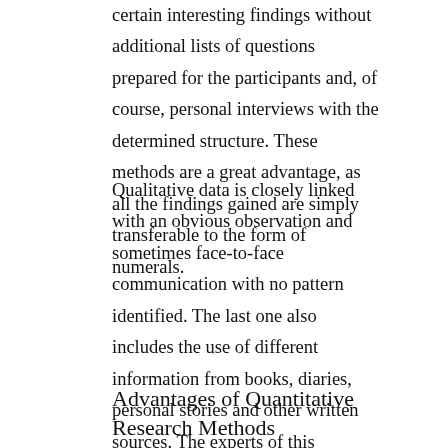certain interesting findings without additional lists of questions prepared for the participants and, of course, personal interviews with the determined structure. These methods are a great advantage, as all the findings gained are simply transferable to the form of numerals.
Qualitative data is closely linked with an obvious observation and sometimes face-to-face communication with no pattern identified. The last one also includes the use of different information from books, diaries, personal stories and other written sources. The experts of this research method usually pay attention to descriptive elements of social life, and they actually have an opportunity to experience some stage of that life.
Advantages of Quantitative Research Methods